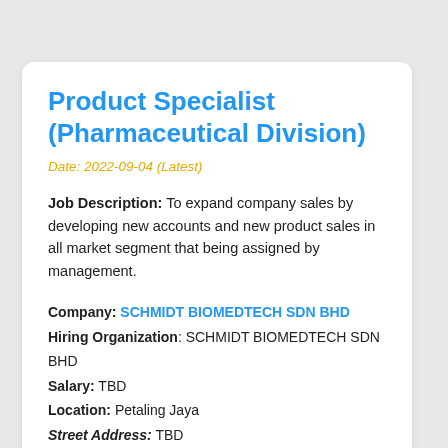Product Specialist (Pharmaceutical Division)
Date: 2022-09-04 (Latest)
Job Description: To expand company sales by developing new accounts and new product sales in all market segment that being assigned by management.
Company: SCHMIDT BIOMEDTECH SDN BHD
Hiring Organization: SCHMIDT BIOMEDTECH SDN BHD
Salary: TBD
Location: Petaling Jaya
Street Address: TBD